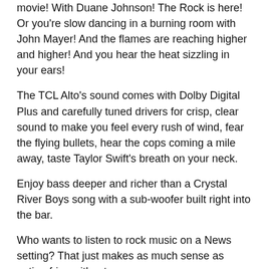movie! With Duane Johnson! The Rock is here! Or you're slow dancing in a burning room with John Mayer! And the flames are reaching higher and higher! And you hear the heat sizzling in your ears!
The TCL Alto's sound comes with Dolby Digital Plus and carefully tuned drivers for crisp, clear sound to make you feel every rush of wind, fear the flying bullets, hear the cops coming a mile away, taste Taylor Swift's breath on your neck.
Enjoy bass deeper and richer than a Crystal River Boys song with a sub-woofer built right into the bar.
Who wants to listen to rock music on a News setting? That just makes as much sense as eating fries without mayo.
The Alto comes with 3 optimized sound modes…
News